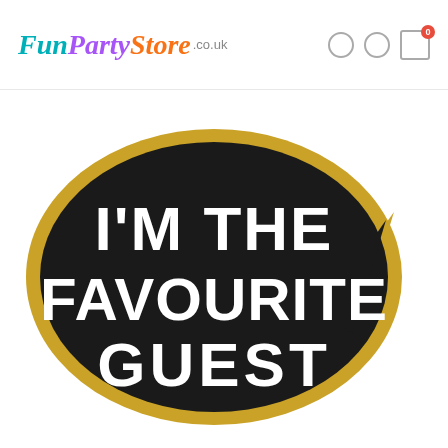FunPartyStore.co.uk
[Figure (illustration): Speech bubble sign with black background, gold border, and white bold text reading I'M THE FAVOURITE GUEST]